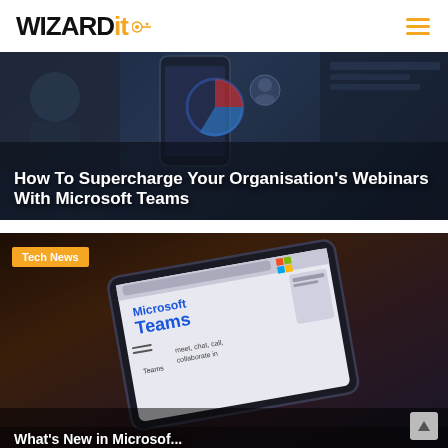WIZARDit
[Figure (photo): Dark background image showing tablet/phone screens with Microsoft-related content, with overlaid article title text in white]
How To Supercharge Your Organisation's Webinars With Microsoft Teams
[Figure (photo): Dark brownish background image showing a tablet displaying Microsoft Teams app, with a Tech News badge overlay and partially visible article title at the bottom]
Tech News
What's New in Microsof...